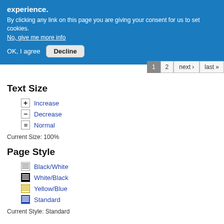experience.
By clicking any link on this page you are giving your consent for us to set cookies. No, give me more info
OK, I agree   Decline
1  2  next ›  last »
Text Size
+ Increase
- Decrease
= Normal
Current Size: 100%
Page Style
Black/White
White/Black
Yellow/Blue
Standard
Current Style: Standard